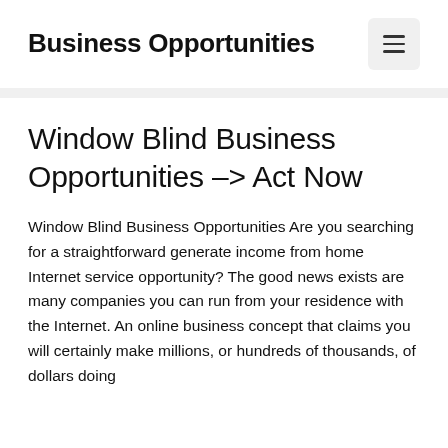Business Opportunities
Window Blind Business Opportunities –> Act Now
Window Blind Business Opportunities Are you searching for a straightforward generate income from home Internet service opportunity? The good news exists are many companies you can run from your residence with the Internet. An online business concept that claims you will certainly make millions, or hundreds of thousands, of dollars doing